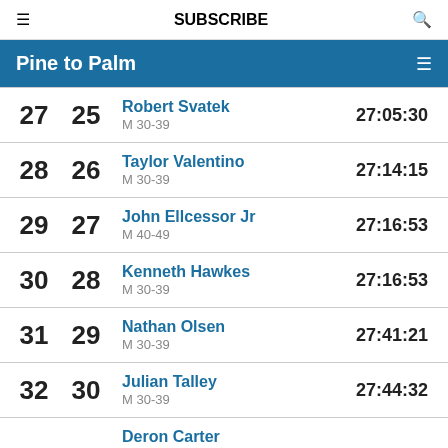≡  SUBSCRIBE  🔍
Pine to Palm
| Overall | Age | Name / Age Group | Time |
| --- | --- | --- | --- |
| 27 | 25 | Robert Svatek
M 30-39 | 27:05:30 |
| 28 | 26 | Taylor Valentino
M 30-39 | 27:14:15 |
| 29 | 27 | John Ellcessor Jr
M 40-49 | 27:16:53 |
| 30 | 28 | Kenneth Hawkes
M 30-39 | 27:16:53 |
| 31 | 29 | Nathan Olsen
M 30-39 | 27:41:21 |
| 32 | 30 | Julian Talley
M 30-39 | 27:44:32 |
|  |  | Deron Carter |  |